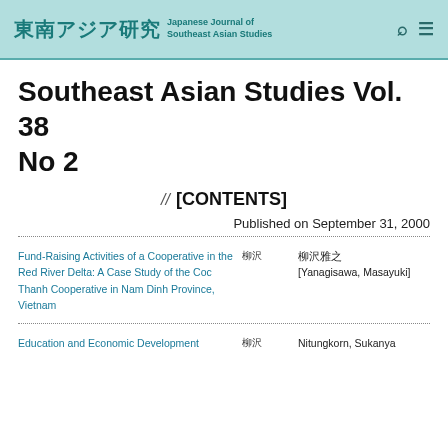東南アジア研究 Japanese Journal of Southeast Asian Studies
Southeast Asian Studies Vol. 38 No 2
// [CONTENTS]
Published on September 31, 2000
Fund-Raising Activities of a Cooperative in the Red River Delta: A Case Study of the Coc Thanh Cooperative in Nam Dinh Province, Vietnam	柳沢	[Yanagisawa, Masayuki]
Education and Economic Development		Nitungkorn, Sukanya